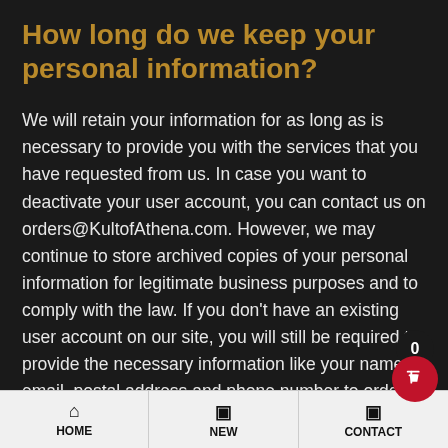How long do we keep your personal information?
We will retain your information for as long as is necessary to provide you with the services that you have requested from us. In case you want to deactivate your user account, you can contact us on orders@KultofAthena.com. However, we may continue to store archived copies of your personal information for legitimate business purposes and to comply with the law. If you don't have an existing user account on our site, you will still be required to provide the necessary information like your name, email, postal address and phone number to order a catalog from us. We store this
HOME | NEW | CONTACT